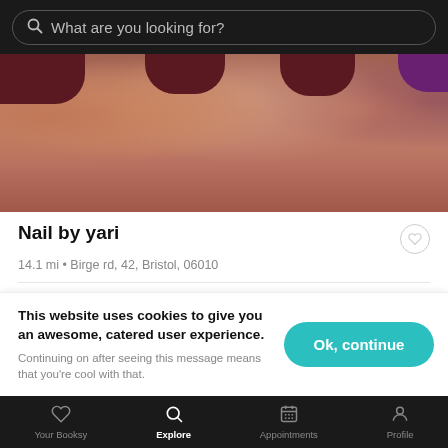What are you looking for?
[Figure (photo): Close-up photo of fingers with dark burgundy/maroon nail polish]
Nail by yari
14.1 mi • Birge rd, 42, Bristol, 06010
Full set
Fill
This website uses cookies to give you an awesome, catered user experience. Continuing on after seeing this message means that you're cool with that.
Ok, continue
Your Booksy  Explore  Appointments  Profile